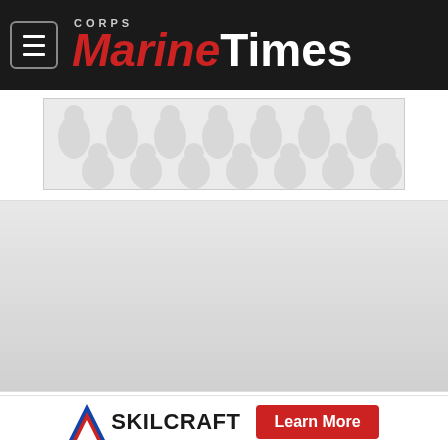Marine Corps Times
[Figure (illustration): Advertisement placeholder with decorative teardrop/pebble pattern in light gray]
[Figure (photo): Main article image placeholder - large gray rectangle]
The Ospreys will lead helicopter operations for UNITAS Amphibious Operations 2015, and will be assisted by Brazil and Mexico.
[Figure (logo): SKILCRAFT advertisement banner with chevron logo and Learn More button]